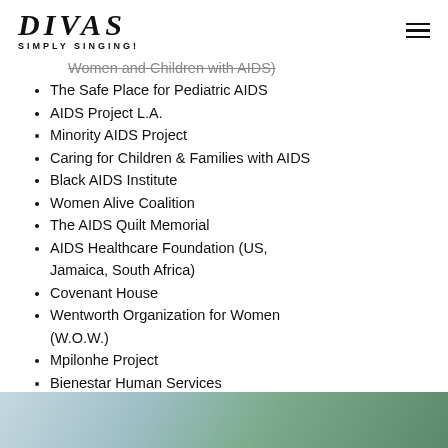DIVAS SIMPLY SINGING!
Women and Children with AIDS)
The Safe Place for Pediatric AIDS
AIDS Project L.A.
Minority AIDS Project
Caring for Children & Families with AIDS
Black AIDS Institute
Women Alive Coalition
The AIDS Quilt Memorial
AIDS Healthcare Foundation (US, Jamaica, South Africa)
Covenant House
Wentworth Organization for Women (W.O.W.)
Mpilonhe Project
Bienestar Human Services
[Figure (photo): Partial photo strip showing outdoor scene with trees and sky at the bottom of the page]